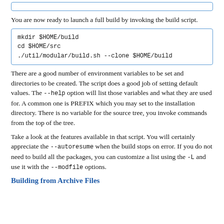You are now ready to launch a full build by invoking the build script.
mkdir $HOME/build
cd $HOME/src
./util/modular/build.sh --clone $HOME/build
There are a good number of environment variables to be set and directories to be created. The script does a good job of setting default values. The --help option will list those variables and what they are used for. A common one is PREFIX which you may set to the installation directory. There is no variable for the source tree, you invoke commands from the top of the tree.
Take a look at the features available in that script. You will certainly appreciate the --autoresume when the build stops on error. If you do not need to build all the packages, you can customize a list using the -L and use it with the --modfile options.
Building from Archive Files